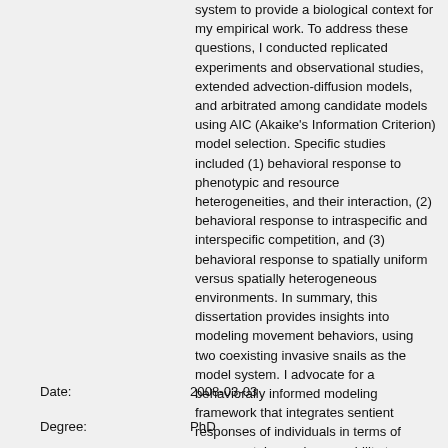system to provide a biological context for my empirical work. To address these questions, I conducted replicated experiments and observational studies, extended advection-diffusion models, and arbitrated among candidate models using AIC (Akaike's Information Criterion) model selection. Specific studies included (1) behavioral response to phenotypic and resource heterogeneities, and their interaction, (2) behavioral response to intraspecific and interspecific competition, and (3) behavioral response to spatially uniform versus spatially heterogeneous environments. In summary, this dissertation provides insights into modeling movement behaviors, using two coexisting invasive snails as the model system. I advocate for a behaviorally informed modeling framework that integrates sentient responses of individuals in terms of movement, improving our ability to accurately model ecological processes that depend on movement ecology.
Date:    2008-03-03
Degree:    PhD